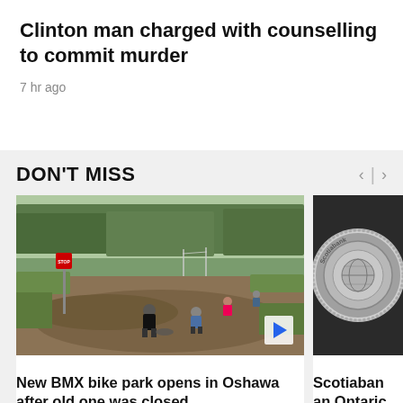Clinton man charged with counselling to commit murder
7 hr ago
DON'T MISS
[Figure (photo): Aerial view of a BMX bike park with riders on dirt tracks, green vegetation on sides, stop sign visible on left]
New BMX bike park opens in Oshawa after old one was closed
[Figure (photo): Close-up of a Scotiabank coin or medallion with circular metallic design]
Scotiaban an Ontaric